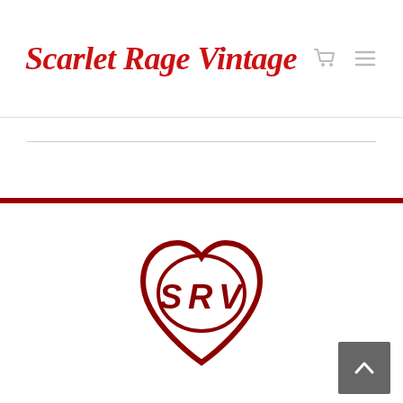Scarlet Rage Vintage
[Figure (logo): SRV heart logo — letters S, R, V inside a hand-drawn heart outline, dark red color]
[Figure (logo): Back to top button — dark gray square with white up-arrow chevron]